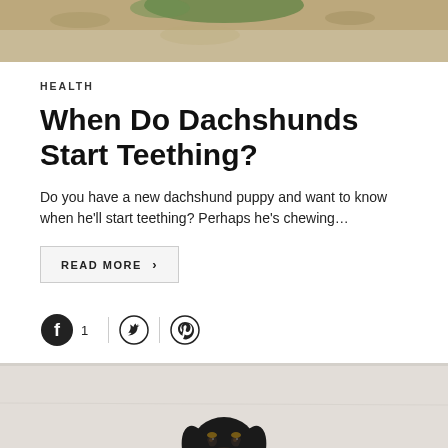[Figure (photo): Top portion of a photo showing a dachshund or related object outdoors with dry leaves on ground]
HEALTH
When Do Dachshunds Start Teething?
Do you have a new dachshund puppy and want to know when he'll start teething? Perhaps he's chewing…
READ MORE >
[Figure (infographic): Social share icons: Facebook with count 1, Twitter, Pinterest]
[Figure (photo): Photo of a black and tan dachshund puppy sitting against a light grey/white wall, looking at the camera]